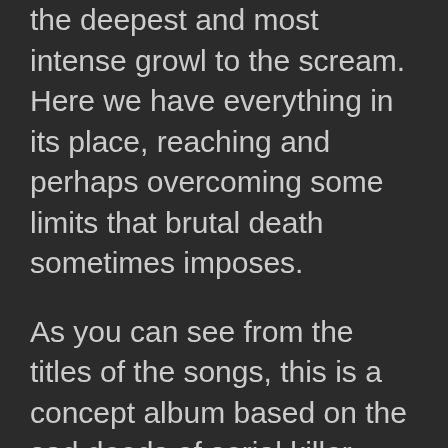the perfect glue to all this work, ranging from the deepest and most intense growl to the scream. Here we have everything in its place, reaching and perhaps overcoming some limits that brutal death sometimes imposes.
As you can see from the titles of the songs, this is a concept album based on the sad deeds of serial killer Johann "Jack" Unterweger, a character infamous for killing at least 10 women in the period from 74 to 94 (number of confirmed victims). Great guests can be found on this second work of the band. In the openening track we find Julien of Benighted while in the song 'Miami Vice -